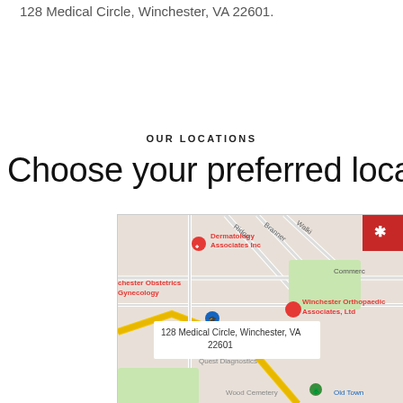128 Medical Circle, Winchester, VA 22601.
OUR LOCATIONS
Choose your preferred location
[Figure (map): Google Maps screenshot showing Winchester, VA area with markers for Dermatology Associates Inc, Winchester Obstetrics Gynecology, Winchester Orthopaedic Associates Ltd. An address callout reads: 128 Medical Circle, Winchester, VA 22601. Also visible: Quest Diagnostics, Wood Cemetery, Old Town, Yelp icon in top right corner.]